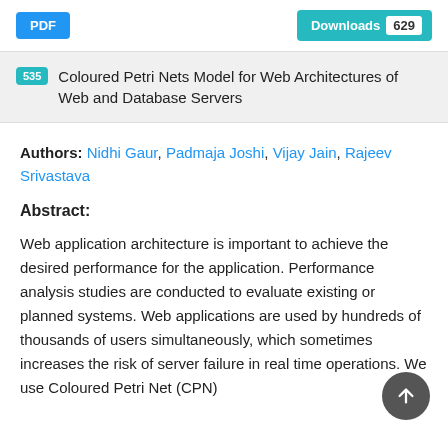PDF | Downloads 629
535 Coloured Petri Nets Model for Web Architectures of Web and Database Servers
Authors: Nidhi Gaur, Padmaja Joshi, Vijay Jain, Rajeev Srivastava
Abstract:
Web application architecture is important to achieve the desired performance for the application. Performance analysis studies are conducted to evaluate existing or planned systems. Web applications are used by hundreds of thousands of users simultaneously, which sometimes increases the risk of server failure in real time operations. We use Coloured Petri Net (CPN)...